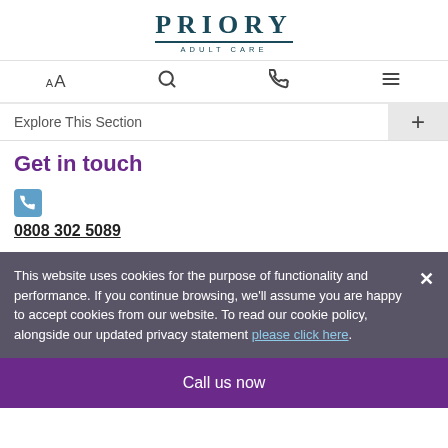[Figure (logo): Priory Adult Care logo with serif text and underline]
AA  [search icon]  [phone icon]  [menu icon]
Explore This Section  +
Get in touch
0808 302 5089
This website uses cookies for the purpose of functionality and performance. If you continue browsing, we'll assume you are happy to accept cookies from our website. To read our cookie policy, alongside our updated privacy statement please click here.
Call us now